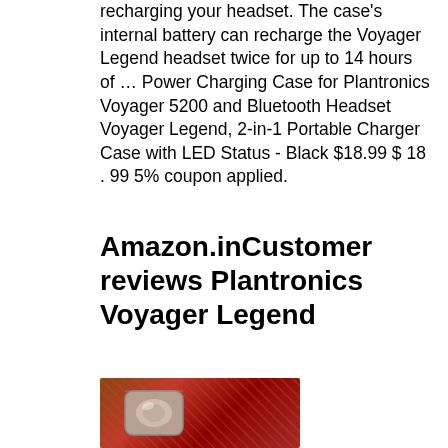recharging your headset. The case's internal battery can recharge the Voyager Legend headset twice for up to 14 hours of … Power Charging Case for Plantronics Voyager 5200 and Bluetooth Headset Voyager Legend, 2-in-1 Portable Charger Case with LED Status - Black $18.99 $ 18 . 99 5% coupon applied.
Amazon.inCustomer reviews Plantronics Voyager Legend
[Figure (photo): Photo of a Plantronics Voyager Legend Bluetooth headset in a charging case, placed on a red ornate patterned background]